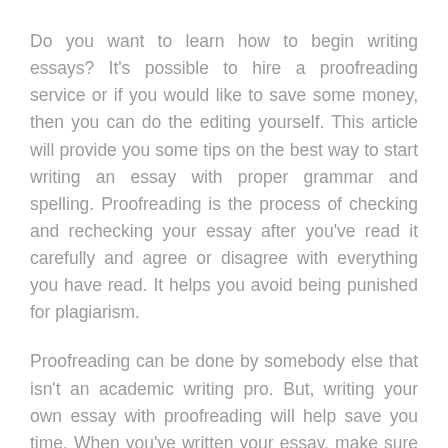Do you want to learn how to begin writing essays? It's possible to hire a proofreading service or if you would like to save some money, then you can do the editing yourself. This article will provide you some tips on the best way to start writing an essay with proper grammar and spelling. Proofreading is the process of checking and rechecking your essay after you've read it carefully and agree or disagree with everything you have read. It helps you avoid being punished for plagiarism.
Proofreading can be done by somebody else that isn't an academic writing pro. But, writing your own essay with proofreading will help save you time. When you've written your essay, make sure it closely reflects the academic writing sample. The last thing you want to do